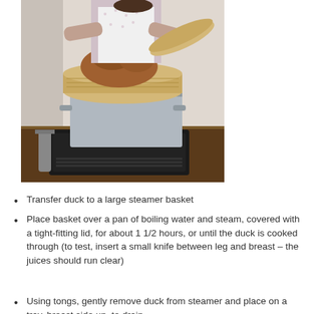[Figure (photo): A person wearing an apron lifting a whole duck or large piece of meat out of a bamboo steamer basket that sits on top of a large stainless steel pot on an induction cooktop on a wooden surface.]
Transfer duck to a large steamer basket
Place basket over a pan of boiling water and steam, covered with a tight-fitting lid, for about 1 1/2 hours, or until the duck is cooked through (to test, insert a small knife between leg and breast – the juices should run clear)
Using tongs, gently remove duck from steamer and place on a tray, breast side up, to drain